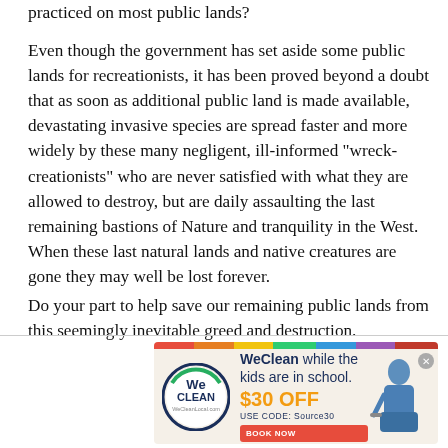practiced on most public lands?
Even though the government has set aside some public lands for recreationists, it has been proved beyond a doubt that as soon as additional public land is made available, devastating invasive species are spread faster and more widely by these many negligent, ill-informed "wreck-creationists" who are never satisfied with what they are allowed to destroy, but are daily assaulting the last remaining bastions of Nature and tranquility in the West. When these last natural lands and native creatures are gone they may well be lost forever.
Do your part to help save our remaining public lands from this seemingly inevitable greed and destruction.
[Figure (illustration): WeClean advertisement banner with rainbow bar at top, WeClean circular logo on left, headline text 'WeClean while the kids are in school. $30 OFF USE CODE: Source30', Book Now button in red, and a photo of a woman cleaning on the right side.]